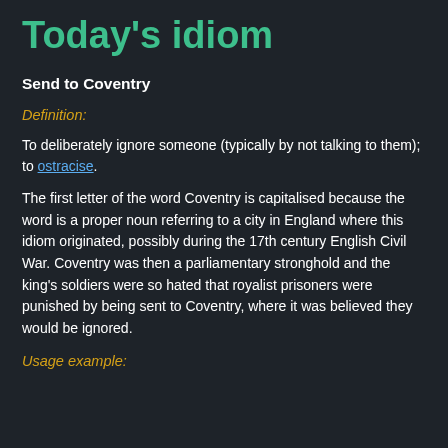Today's idiom
Send to Coventry
Definition:
To deliberately ignore someone (typically by not talking to them); to ostracise.
The first letter of the word Coventry is capitalised because the word is a proper noun referring to a city in England where this idiom originated, possibly during the 17th century English Civil War. Coventry was then a parliamentary stronghold and the king's soldiers were so hated that royalist prisoners were punished by being sent to Coventry, where it was believed they would be ignored.
Usage example: